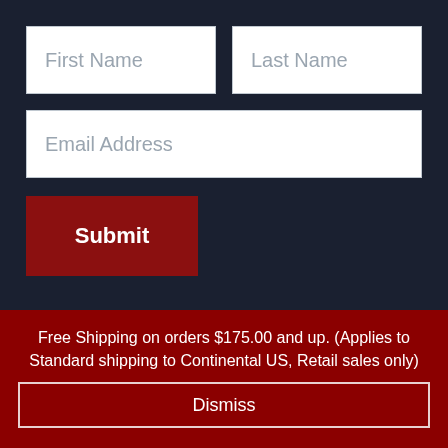[Figure (screenshot): Web form with First Name and Last Name input fields in a row, Email Address input field below, and a Submit button. Dark navy background. Below is a dark red banner with shipping information and a Dismiss button.]
Free Shipping on orders $175.00 and up. (Applies to Standard shipping to Continental US, Retail sales only)
Dismiss